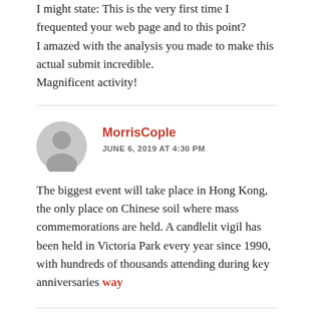I might state: This is the very first time I frequented your web page and to this point?
I amazed with the analysis you made to make this actual submit incredible.
Magnificent activity!
MorrisCople
JUNE 6, 2019 AT 4:30 PM
The biggest event will take place in Hong Kong, the only place on Chinese soil where mass commemorations are held. A candlelit vigil has been held in Victoria Park every year since 1990, with hundreds of thousands attending during key anniversaries way